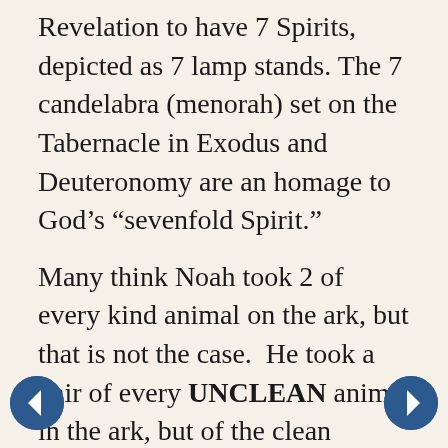Revelation to have 7 Spirits, depicted as 7 lamp stands. The 7 candelabra (menorah) set on the Tabernacle in Exodus and Deuteronomy are an homage to God’s “sevenfold Spirit.”
Many think Noah took 2 of every kind animal on the ark, but that is not the case.  He took a pair of every UNCLEAN animal in the ark, but of the clean animals (one’s we can eat)  he took 7 pairs for each species.  Joshua led the Israelites, with the Ark, 7 times